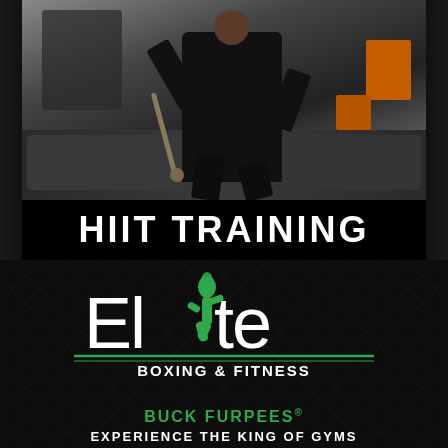[Figure (photo): Person in dark athletic wear doing battle rope training at a gym, treadmills in background, orange equipment visible on right]
HIIT TRAINING
[Figure (logo): Elite Boxing & Fitness logo with green running figure, white stylized 'Elite' text, green horizontal lines, white 'BOXING & FITNESS' text, green 'BUCK FURPEES' text with registered trademark symbol]
EXPERIENCE THE KING OF GYMS